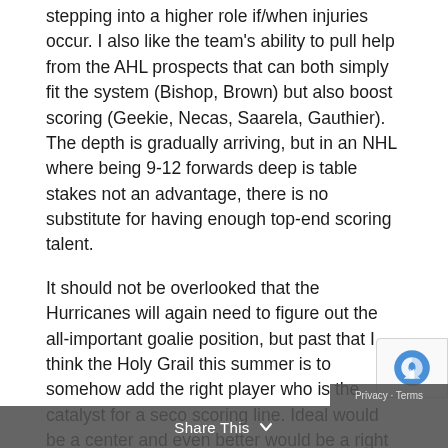stepping into a higher role if/when injuries occur. I also like the team's ability to pull help from the AHL prospects that can both simply fit the system (Bishop, Brown) but also boost scoring (Geekie, Necas, Saarela, Gauthier). The depth is gradually arriving, but in an NHL where being 9-12 forwards deep is table stakes not an advantage, there is no substitute for having enough top-end scoring talent.
It should not be overlooked that the Hurricanes will again need to figure out the all-important goalie position, but past that I think the Holy Grail this summer is to somehow add the right player who is the catalyst for a seco scoring line. Ideal would be a center and even better would be a right shot to balance face-
Share This